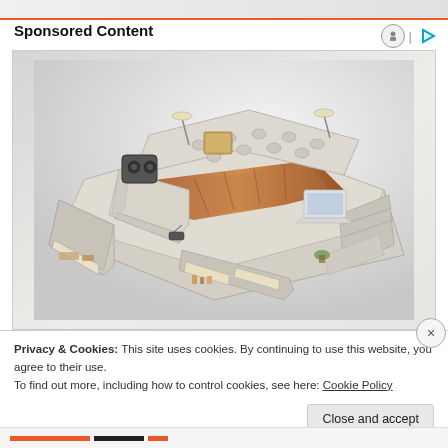Sponsored Content
[Figure (photo): A high-tech multi-functional smart bed with integrated speakers, reading lamps, storage drawers, massage chair attachment, laptop area, and various accessories. The bed is cream/beige colored with a tufted headboard and brown bedding.]
Privacy & Cookies: This site uses cookies. By continuing to use this website, you agree to their use.
To find out more, including how to control cookies, see here: Cookie Policy
Close and accept